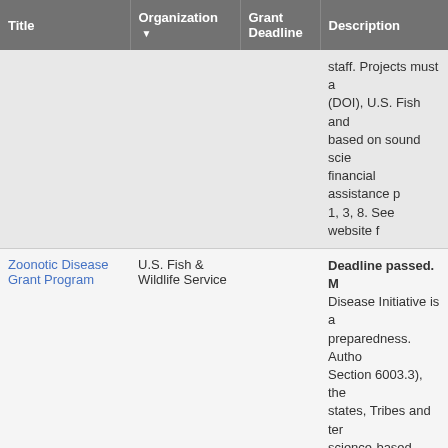| Title | Organization ▼ | Grant Deadline | Description |
| --- | --- | --- | --- |
|  |  |  | staff. Projects must a (DOI), U.S. Fish and based on sound scie financial assistance p 1, 3, 8. See website f |
| Zoonotic Disease Grant Program | U.S. Fish & Wildlife Service |  | Deadline passed. M Disease Initiative is a preparedness. Autho Section 6003.3), the states, Tribes and ter science-based mana before they cross the The highest priority f ensure a network of s nation are prepared f capacity for wildlife h diseases. Learn more NOFO F22AS00308. at anna-marie_york@ |
|  |  |  | Recent Deadline: 2/ |